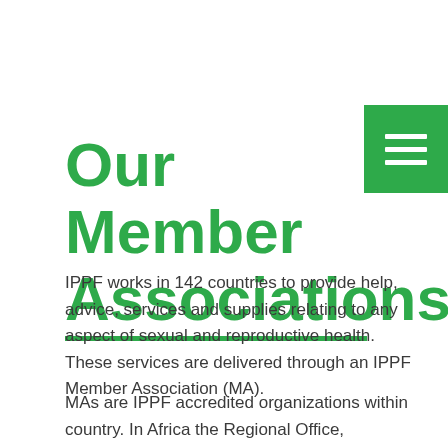Our Member Associations
IPPF works in 142 countries to provide help, advice, services and supplies relating to any aspect of sexual and reproductive health. These services are delivered through an IPPF Member Association (MA).
MAs are IPPF accredited organizations within country. In Africa the Regional Office,